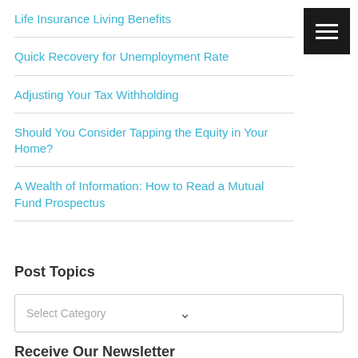Life Insurance Living Benefits
Quick Recovery for Unemployment Rate
Adjusting Your Tax Withholding
Should You Consider Tapping the Equity in Your Home?
A Wealth of Information: How to Read a Mutual Fund Prospectus
Post Topics
Select Category
Receive Our Newsletter